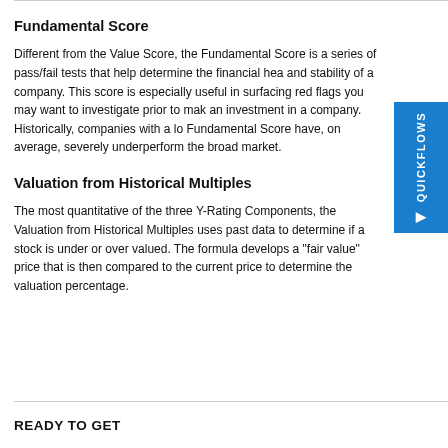Fundamental Score
Different from the Value Score, the Fundamental Score is a series of pass/fail tests that help determine the financial health and stability of a company. This score is especially useful in surfacing red flags you may want to investigate prior to making an investment in a company. Historically, companies with a low Fundamental Score have, on average, severely underperformed the broad market.
Valuation from Historical Multiples
The most quantitative of the three Y-Rating Components, the Valuation from Historical Multiples uses past data to determine if a stock is under or over valued. The formula develops a "fair value" price that is then compared to the current price to determine the valuation percentage.
READY TO GET